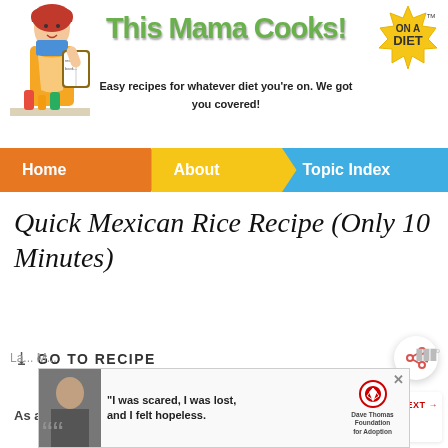[Figure (illustration): Retro illustration of a woman in apron reading a recipe book]
This Mama Cooks!
Easy recipes for whatever diet you're on. We got you covered!
[Figure (logo): Yellow starburst badge with text ON A DIET and TM mark]
Home | About | Topic Index
Quick Mexican Rice Recipe (Only 10 Minutes)
GO TO RECIPE
As an Amazon Associate I earn from qualify...
WHAT'S NEXT → Tiana's Famous...
"I was scared, I was lost, and I felt hopeless."
[Figure (photo): Advertisement photo of a woman with Dave Thomas Foundation for Adoption logo]